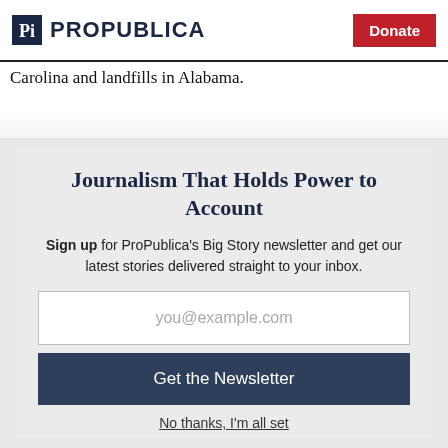ProPublica | Donate
Carolina and landfills in Alabama.
Journalism That Holds Power to Account
Sign up for ProPublica's Big Story newsletter and get our latest stories delivered straight to your inbox.
you@example.com
Get the Newsletter
No thanks, I'm all set
This site is protected by reCAPTCHA and the Google Privacy Policy and Terms of Service apply.